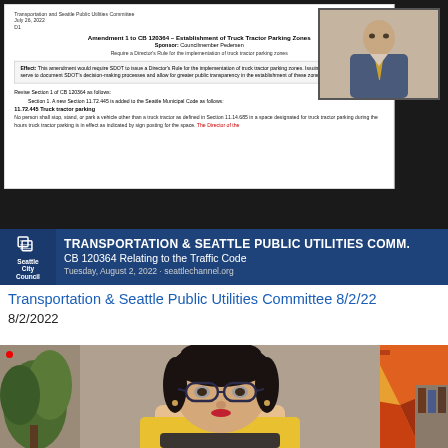[Figure (screenshot): Screenshot of a Seattle City Council meeting video showing a document about Amendment 1 to CB 120364 – Establishment of Truck Tractor Parking Zones, with a lower bar reading 'TRANSPORTATION & SEATTLE PUBLIC UTILITIES COMM. CB 120364 Relating to the Traffic Code, Tuesday, August 2, 2022 – seattlechannel.org'. A picture-in-picture shows a man in a suit.]
Transportation & Seattle Public Utilities Committee 8/2/22
8/2/2022
[Figure (photo): Photo of a woman with dark hair and glasses wearing a yellow top, seated in front of a plant and colorful artwork, appearing on a video call.]